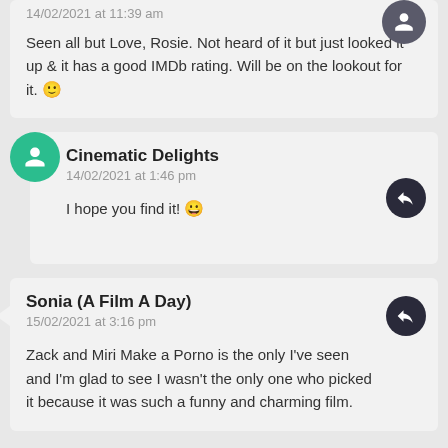14/02/2021 at 11:39 am
Seen all but Love, Rosie. Not heard of it but just looked it up & it has a good IMDb rating. Will be on the lookout for it. 🙂
Cinematic Delights
14/02/2021 at 1:46 pm
I hope you find it! 😀
Sonia (A Film A Day)
15/02/2021 at 3:16 pm
Zack and Miri Make a Porno is the only I've seen and I'm glad to see I wasn't the only one who picked it because it was such a funny and charming film.